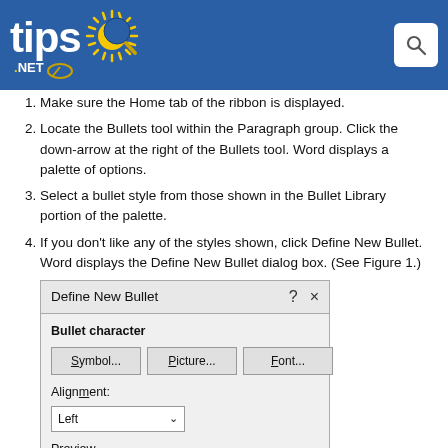tips.NET
Make sure the Home tab of the ribbon is displayed.
Locate the Bullets tool within the Paragraph group. Click the down-arrow at the right of the Bullets tool. Word displays a palette of options.
Select a bullet style from those shown in the Bullet Library portion of the palette.
If you don't like any of the styles shown, click Define New Bullet. Word displays the Define New Bullet dialog box. (See Figure 1.)
[Figure (screenshot): Define New Bullet dialog box showing Bullet character section with Symbol..., Picture..., Font... buttons, Alignment: Left dropdown, and Preview section with gray lines preview.]